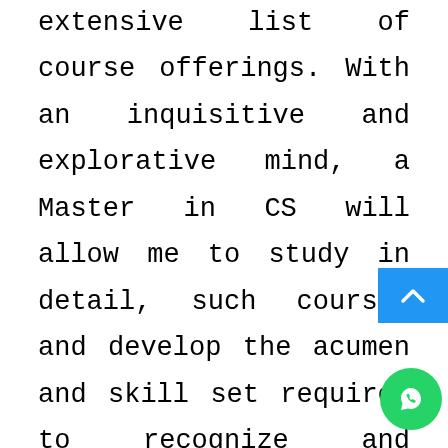extensive list of course offerings. With an inquisitive and explorative mind, a Master in CS will allow me to study in detail, such courses and develop the acumen and skill set required to recognize and overcome obstacles encountered in CS. The opportunity to work with renowned faculty members would be enriching and intellectual in nature. On my part, I wou bring along with me consistent academic performances and research expe coupled with diligence and hard work. I am